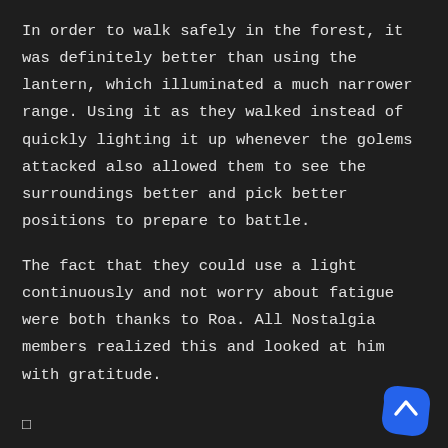In order to walk safely in the forest, it was definitely better than using the lantern, which illuminated a much narrower range. Using it as they walked instead of quickly lighting it up whenever the golems attacked also allowed them to see the surroundings better and pick better positions to prepare to battle.
The fact that they could use a light continuously and not worry about fatigue were both thanks to Roa. All Nostalgia members realized this and looked at him with gratitude.
□
[Figure (other): Blue rounded scroll-to-top button with a white chevron/caret icon pointing upward, positioned in the bottom-right corner]